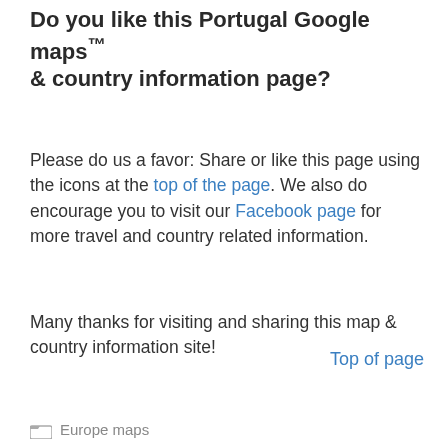Do you like this Portugal Google maps™ & country information page?
Please do us a favor: Share or like this page using the icons at the top of the page. We also do encourage you to visit our Facebook page for more travel and country related information.
Many thanks for visiting and sharing this map & country information site!
Top of page
Europe maps